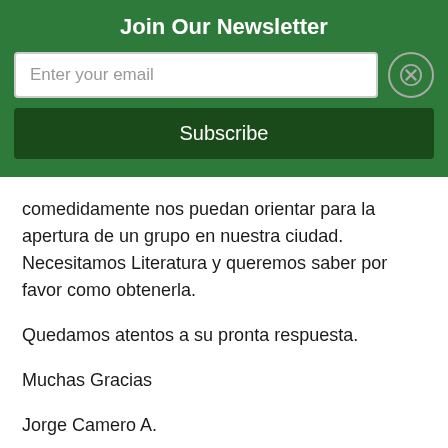Join Our Newsletter
[Figure (screenshot): Email input field with placeholder 'Enter your email' and a circular close (X) button]
Subscribe
comedidamente nos puedan orientar para la apertura de un grupo en nuestra ciudad. Necesitamos Literatura y queremos saber por favor como obtenerla.
Quedamos atentos a su pronta respuesta.
Muchas Gracias
Jorge Camero A.
Best regard. I am writing from the city of Medellin, Colombia. Currently you have the desire to open a group of 12 steps for the recovery of the Depression. For us it is of vital importance. We ask you very kindly to guide us to